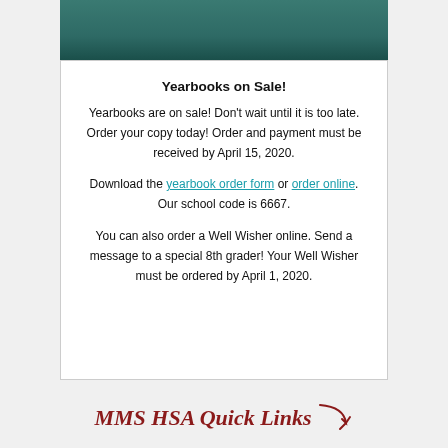[Figure (photo): Photo strip showing people near school lockers, teal/green background, cropped at top]
Yearbooks on Sale!
Yearbooks are on sale! Don't wait until it is too late. Order your copy today! Order and payment must be received by April 15, 2020.
Download the yearbook order form or order online. Our school code is 6667.
You can also order a Well Wisher online. Send a message to a special 8th grader! Your Well Wisher must be ordered by April 1, 2020.
MMS HSA Quick Links